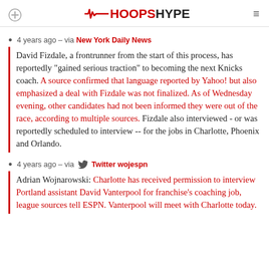HOOPSHYPE
4 years ago – via New York Daily News
David Fizdale, a frontrunner from the start of this process, has reportedly "gained serious traction" to becoming the next Knicks coach. A source confirmed that language reported by Yahoo! but also emphasized a deal with Fizdale was not finalized. As of Wednesday evening, other candidates had not been informed they were out of the race, according to multiple sources. Fizdale also interviewed - or was reportedly scheduled to interview -- for the jobs in Charlotte, Phoenix and Orlando.
4 years ago – via Twitter wojespn
Adrian Wojnarowski: Charlotte has received permission to interview Portland assistant David Vanterpool for franchise's coaching job, league sources tell ESPN. Vanterpool will meet with Charlotte today.